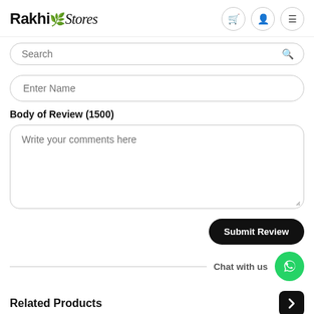Rakhi Stores
Search
Enter Name
Body of Review (1500)
Write your comments here
Submit Review
Chat with us
Related Products